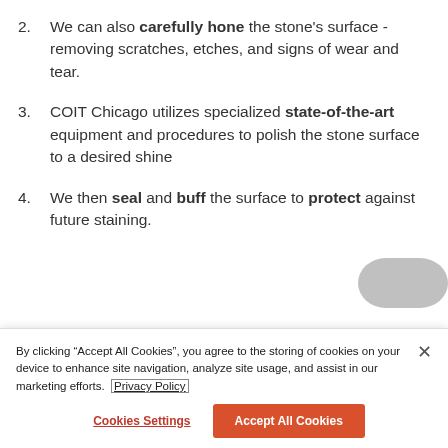2. We can also carefully hone the stone's surface -  removing scratches, etches, and signs of wear and tear.
3. COIT Chicago utilizes specialized state-of-the-art equipment and procedures to polish the stone surface to a desired shine
4. We then seal and buff the surface to protect against future staining.
By clicking “Accept All Cookies”, you agree to the storing of cookies on your device to enhance site navigation, analyze site usage, and assist in our marketing efforts. Privacy Policy
Cookies Settings | Accept All Cookies